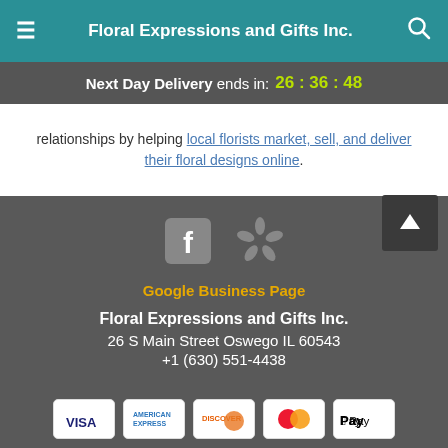Floral Expressions and Gifts Inc.
Next Day Delivery ends in: 26 : 36 : 48
relationships by helping local florists market, sell, and deliver their floral designs online.
[Figure (logo): Facebook icon (gray square with white f)]
[Figure (logo): Yelp icon (gray stylized yelp burst)]
Google Business Page
Floral Expressions and Gifts Inc.
26 S Main Street Oswego IL 60543
+1 (630) 551-4438
[Figure (other): Payment method icons: Visa, American Express, Discover, Mastercard, Apple Pay]